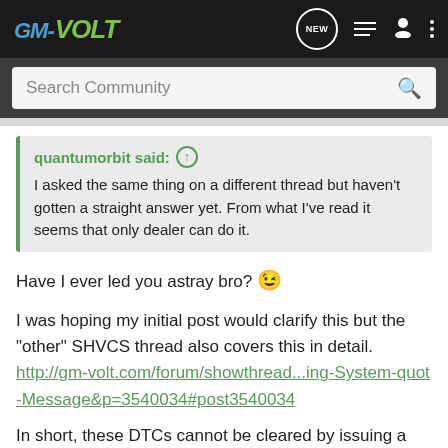GM-VOLT
Search Community
quantumorbit said: ↑ I asked the same thing on a different thread but haven't gotten a straight answer yet. From what I've read it seems that only dealer can do it.
Have I ever led you astray bro? 😉
I was hoping my initial post would clarify this but the "other" SHVCS thread also covers this in detail.
http://gm-volt.com/forum/showthread...ing-System-quot-Message&p=3540034#post3540034
In short, these DTCs cannot be cleared by issuing a "clear code" command by ANY scan tool.